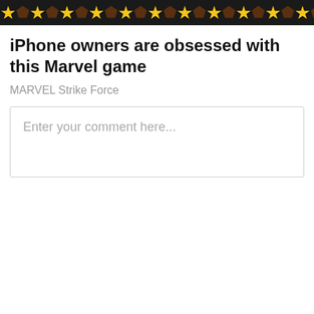[Figure (illustration): A banner image showing a row of yellow stars and dark gem/trophy icons alternating on a dark background, from a Marvel Strike Force game advertisement.]
iPhone owners are obsessed with this Marvel game
MARVEL Strike Force
Enter your comment here...